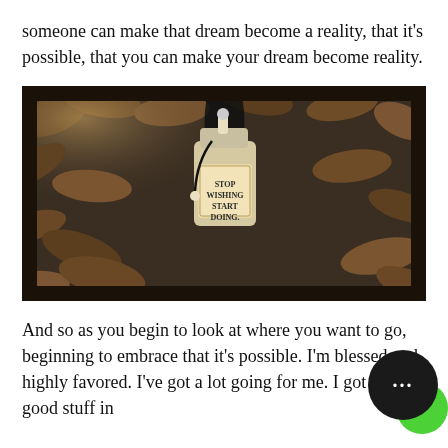someone can make that dream become a reality, that it's possible, that you can make your dream become reality.
[Figure (photo): A motivational keychain or tag resting on a bed of dry autumn leaves. The tag reads 'STOP WISHING START DOING.' in bold serif text on a beige/kraft paper background.]
And so as you begin to look at where you want to go, beginning to embrace that it's possible. I'm blessed and highly favored. I've got a lot going for me. I got some good stuff in